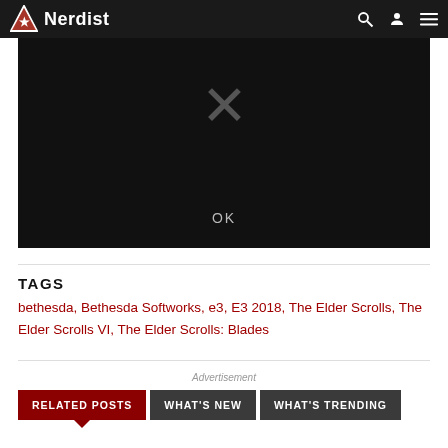Nerdist
[Figure (screenshot): Black video player area with an X close button and OK label, indicating a dismissed/closed video embed]
TAGS
bethesda, Bethesda Softworks, e3, E3 2018, The Elder Scrolls, The Elder Scrolls VI, The Elder Scrolls: Blades
RELATED POSTS | WHAT'S NEW | WHAT'S TRENDING